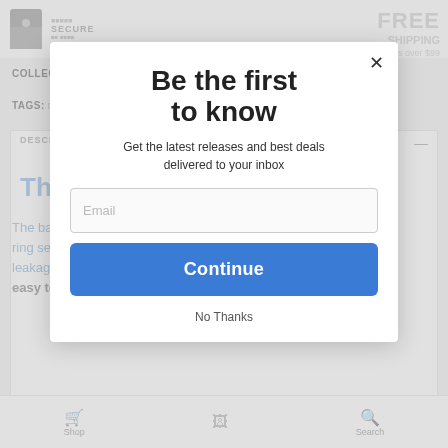[Figure (screenshot): Background of a product page showing 'SECURE' badge, 'FREE SHIPPING on orders over $99', COLLECTIONS: Diver Propulsion Vehicle, TAGS: Diver Propulsion Vehicle, DPV, Scuba diving, Torpedo, DESCRIPTION section with 'The Main Seal' heading and body text about battery compartment O-ring seal, and a bottom navigation bar with Shop and Search icons.]
Be the first to know
Get the latest releases and best deals delivered to your inbox
Email
Continue
No Thanks